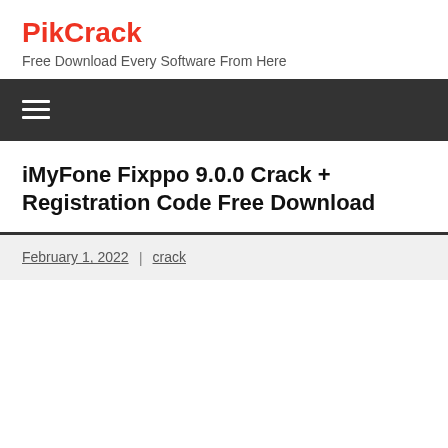PikCrack
Free Download Every Software From Here
iMyFone Fixppo 9.0.0 Crack + Registration Code Free Download
February 1, 2022 | crack